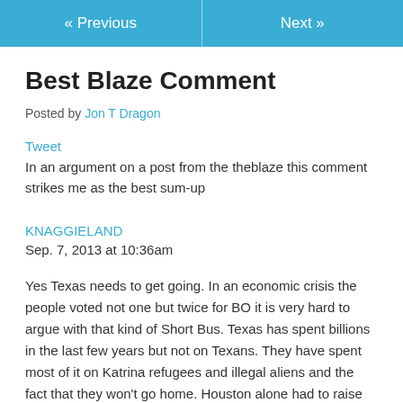« Previous   Next »
Best Blaze Comment
Posted by Jon T Dragon
Tweet
In an argument on a post from the theblaze this comment strikes me as the best sum-up
KNAGGIELAND
Sep. 7, 2013 at 10:36am
Yes Texas needs to get going. In an economic crisis the people voted not one but twice for BO it is very hard to argue with that kind of Short Bus. Texas has spent billions in the last few years but not on Texans. They have spent most of it on Katrina refugees and illegal aliens and the fact that they won't go home. Houston alone had to raise taxes just to cover the cost of tutors year round to attempt to bring NOLO kids up to speed for the schools. Couple that with slashed oil production